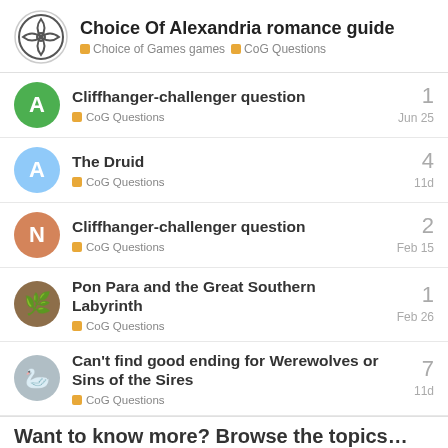Choice Of Alexandria romance guide — Choice of Games games > CoG Questions
Cliffhanger-challenger question | CoG Questions | 1 | Jun 25
The Druid | CoG Questions | 4 | 11d
Cliffhanger-challenger question | CoG Questions | 2 | Feb 15
Pon Para and the Great Southern Labyrinth | CoG Questions | 1 | Feb 26
Can't find good ending for Werewolves or Sins of the Sires | CoG Questions | 7 | 11d
Want to know more? Browse the topics…